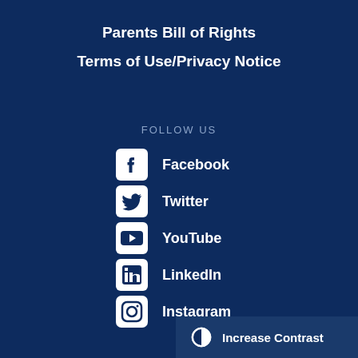Parents Bill of Rights
Terms of Use/Privacy Notice
FOLLOW US
Facebook
Twitter
YouTube
LinkedIn
Instagram
Increase Contrast